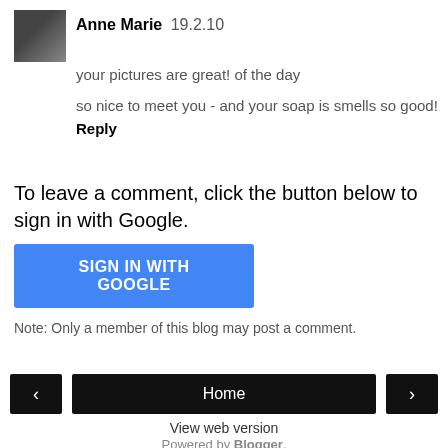Anne Marie 19.2.10
your pictures are great! of the day

so nice to meet you - and your soap is smells so good!
Reply
To leave a comment, click the button below to sign in with Google.
[Figure (other): Blue button labeled SIGN IN WITH GOOGLE]
Note: Only a member of this blog may post a comment.
[Figure (other): Navigation bar with left arrow, Home button, right arrow]
View web version
Powered by Blogger.